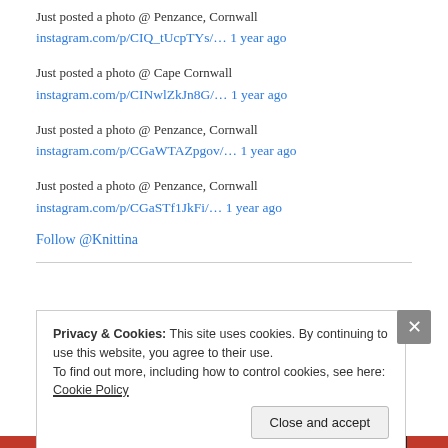Just posted a photo @ Penzance, Cornwall
instagram.com/p/CIQ_tUcpTYs/… 1 year ago
Just posted a photo @ Cape Cornwall
instagram.com/p/CINwlZkJn8G/… 1 year ago
Just posted a photo @ Penzance, Cornwall
instagram.com/p/CGaWTAZpgov/… 1 year ago
Just posted a photo @ Penzance, Cornwall
instagram.com/p/CGaSTf1JkFi/… 1 year ago
Follow @Knittina
Privacy & Cookies: This site uses cookies. By continuing to use this website, you agree to their use.
To find out more, including how to control cookies, see here: Cookie Policy
Close and accept